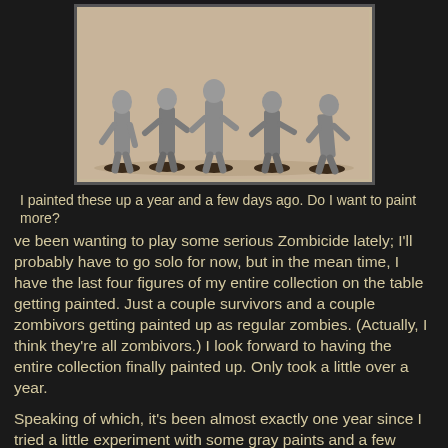[Figure (photo): Five gray-painted zombie miniature figures on dark bases, posed in various walking/shambling stances, photographed against a beige/tan background.]
I painted these up a year and a few days ago. Do I want to paint more?
ve been wanting to play some serious Zombicide lately; I'll probably have to go solo for now, but in the mean time, I have the last four figures of my entire collection on the table getting painted. Just a couple survivors and a couple zombivors getting painted up as regular zombies. (Actually, I think they're all zombivors.) I look forward to having the entire collection finally painted up. Only took a little over a year.
Speaking of which, it's been almost exactly one year since I tried a little experiment with some gray paints and a few walkers. I've been thinking about buying another box of walkers just so I can paint'em up all monochrome :)
42mm
I also put down the first payment for a new samurai.